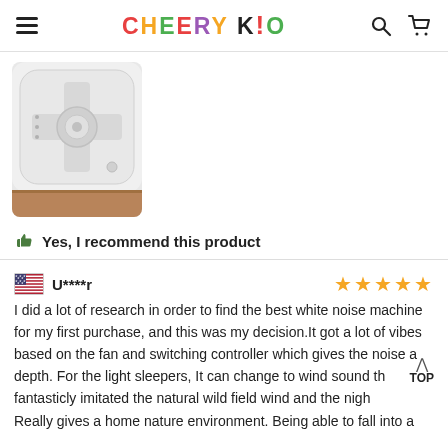CHEERY KID
[Figure (photo): White square-shaped white noise machine device with rounded corners, cross/dial pattern on top, sitting on a wooden surface]
Yes, I recommend this product
U****r ★★★★★ I did a lot of research in order to find the best white noise machine for my first purchase, and this was my decision. It got a lot of vibes based on the fan and switching controller which gives the noise a depth. For the light sleepers, It can change to wind sound th fantasticly imitated the natural wild field wind and the nigh Really gives a home nature environment. Being able to fall into a